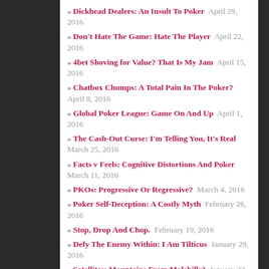» Dickhead Dealers: An Insult To Poker  April 29, 2016
» Don't Hate The Game: Hate The Player  April 22, 2016
» 4bet Shoving for Value? That Is My Jam  April 15, 2016
» Chatbox Chumps: A Total Pain In The Poker?  April 8, 2016
» Global Poker League: Game On And Up  April 1, 2016
» The Cash-Out Curse: I'm Telling You, It's Real  March 25, 2016
» Facts v Feels: Cognitive Distortions And Poker  March 11, 2016
» PKOs: Progressive Or Regressive?  March 4, 2016
» Poker Self-Deception: A Costly Myth  February 26, 2016
» Stop, Drop And Chop.  February 19, 2016
» Defy The Enemy Within: I Am Tilticus  January 29, 2016
» Satellites: Mountains From Molehills?  January 22,